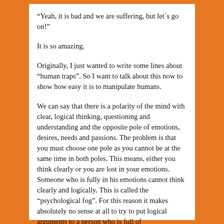“Yeah, it is bad and we are suffering, but let´s go on!”
It is so amazing.
Originally, I just wanted to write some lines about “human traps”. So I want to talk about this now to show how easy it is to manipulate humans.
We can say that there is a polarity of the mind with clear, logical thinking, questioning and understanding and the opposite pole of emotions, desires, needs and passions. The problem is that you must choose one pole as you cannot be at the same time in both poles. This means, either you think clearly or you are lost in your emotions. Someone who is fully in his emotions cannot think clearly and logically. This is called the “psychological fog”. For this reason it makes absolutely no sense at all to try to put logical arguments to a person who is full of